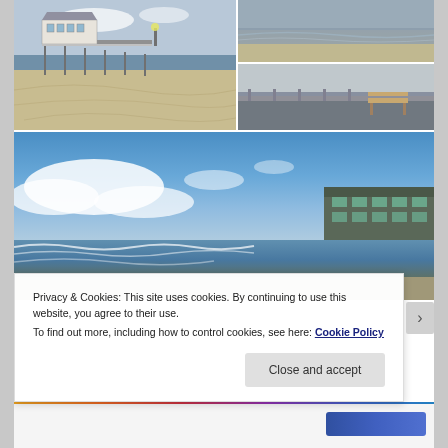[Figure (photo): Beach pier with white pavilion building on stilts over sandy beach, along with smaller coastal and seaside images in a photo grid collage]
[Figure (photo): Large beach scene with blue sky, white clouds, ocean waves, and a building structure on the right side of the shoreline]
Privacy & Cookies: This site uses cookies. By continuing to use this website, you agree to their use.
To find out more, including how to control cookies, see here: Cookie Policy
Close and accept